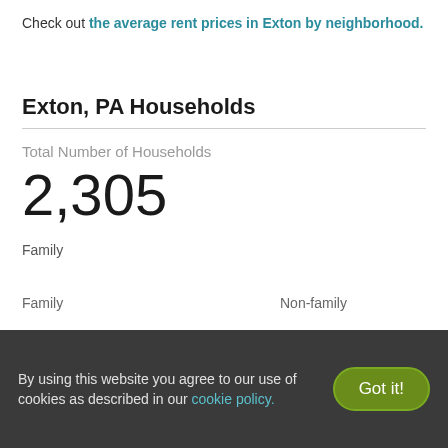Check out the average rent prices in Exton by neighborhood.
Exton, PA Households
Total Number of Households
2,305
[Figure (infographic): Pictogram showing Family and Non-family households with human figure icons. Green figures represent Family households, blue figures represent Non-family households.]
By using this website you agree to our use of cookies as described in our cookie policy.